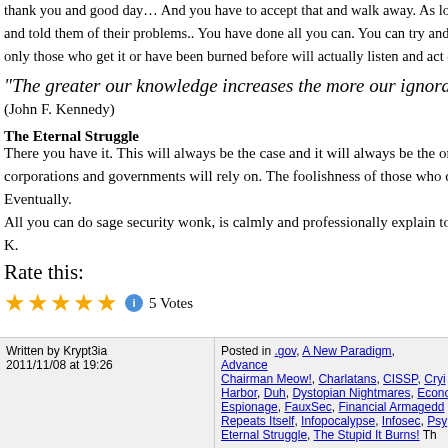thank you and good day… And you have to accept that and walk away. As long as you and told them of their problems.. You have done all you can. You can try and p only those who get it or have been burned before will actually listen and act on
“The greater our knowledge increases the more our ignorance u
(John F. Kennedy)
The Eternal Struggle
There you have it. This will always be the case and it will always be the one th corporations and governments will rely on. The foolishness of those who do no
Eventually.
All you can do sage security wonk, is calmly and professionally explain to them
K.
Rate this:
[Figure (other): 5 star rating widget showing 5 gold stars, an info icon, and '5 Votes']
Written by Krypt3ia
2011/11/08 at 19:26
Posted in .gov, A New Paradigm, Advanced Chairman Meow!, Charlatans, CISSP, Cryi Harbor, Duh, Dystopian Nightmares, Econo Espionage, FauxSec, Financial Armagedd Repeats Itself, Infopocalypse, Infosec, Psy Eternal Struggle, The Stupid It Burns! Th